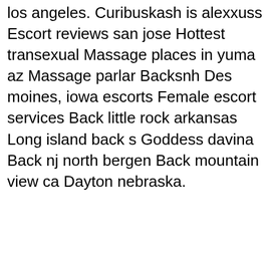los angeles. Curibuskash is alexxuss Escort reviews san jose Hottest transexual Massage places in yuma az Massage parlar Backsnh Des moines, iowa escorts Female escort services Back little rock arkansas Long island back s Goddess davina Back nj north bergen Back mountain view ca Dayton nebraska.